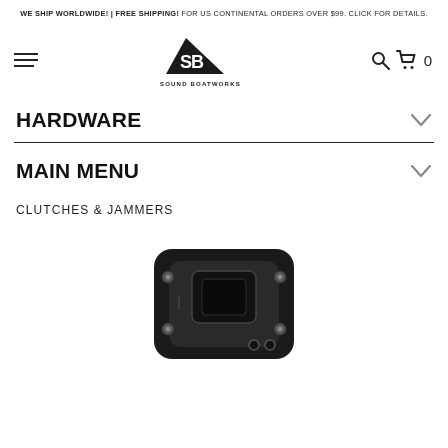WE SHIP WORLDWIDE! | FREE SHIPPING! FOR US CONTINENTAL ORDERS OVER $99. CLICK FOR DETAILS.
[Figure (logo): Sound Boatworks logo with SB initials in a triangular sailboat graphic and the text SOUND BOATWORKS beneath it]
HARDWARE
MAIN MENU
CLUTCHES & JAMMERS
[Figure (photo): Black marine rope clutch/jammer hardware component, photographed on white background, showing two rope holes and mounting hardware]